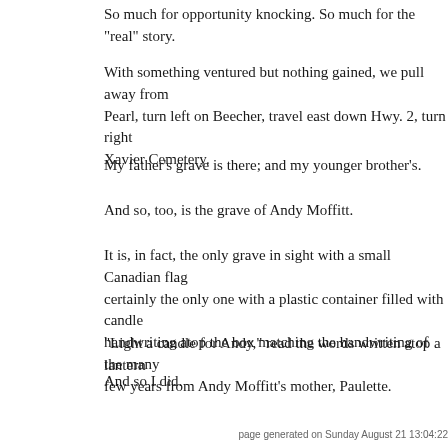So much for opportunity knocking. So much for the "real" story.
With something ventured but nothing gained, we pull away from Pearl, turn left on Beecher, travel east down Hwy. 2, turn right on Xavier Cemetery.
My father’s grave is there; and my younger brother’s.
And so, too, is the grave of Andy Moffitt.
It is, in fact, the only grave in sight with a small Canadian flag certainly the only one with a plastic container filled with candle handwriting atop the box matching the handwriting of the many few years from Andy Moffitt’s mother, Paulette.
"Light a candle for Andy," read the words written atop a lantern
And so I did.
page generated on Sunday August 21 13:04:22